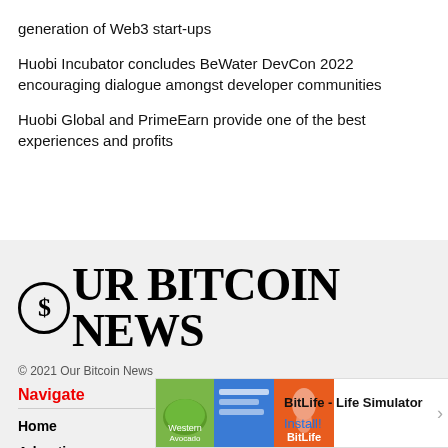generation of Web3 start-ups
Huobi Incubator concludes BeWater DevCon 2022 encouraging dialogue amongst developer communities
Huobi Global and PrimeEarn provide one of the best experiences and profits
[Figure (logo): Our Bitcoin News logo with stylized serif font and Bitcoin symbol]
© 2021 Our Bitcoin News
Navigate
Home
Advertis...
[Figure (screenshot): Advertisement banner for BitLife - Life Simulator app with Install button]